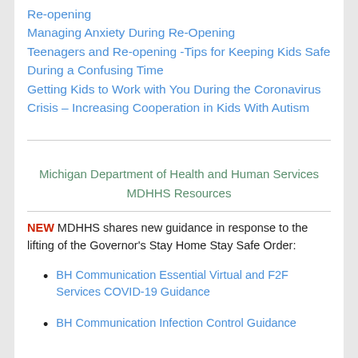Re-opening
Managing Anxiety During Re-Opening
Teenagers and Re-opening -Tips for Keeping Kids Safe During a Confusing Time
Getting Kids to Work with You During the Coronavirus Crisis – Increasing Cooperation in Kids With Autism
Michigan Department of Health and Human Services MDHHS Resources
NEW MDHHS shares new guidance in response to the lifting of the Governor's Stay Home Stay Safe Order:
BH Communication Essential Virtual and F2F Services COVID-19 Guidance
BH Communication Infection Control Guidance